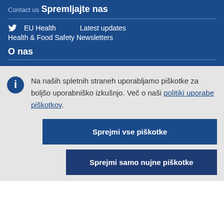Contact us
Spremljajte nas
EU Health   Latest updates
Health & Food Safety Newsletters
O nas
Na naših spletnih straneh uporabljamo piškotke za boljšo uporabniško izkušnjo. Več o naši politiki uporabe piškotkov.
Sprejmi vse piškotke
Sprejmi samo nujne piškotke